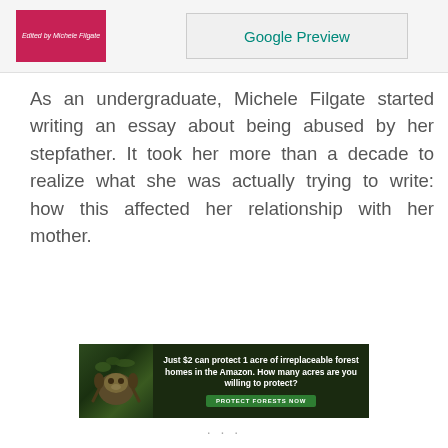[Figure (other): Book cover thumbnail showing pink/red background with text 'Edited by Michele Filgate']
[Figure (other): Google Preview button in light gray box with teal text]
As an undergraduate, Michele Filgate started writing an essay about being abused by her stepfather. It took her more than a decade to realize what she was actually trying to write: how this affected her relationship with her mother.
[Figure (other): Advertisement banner with dark forest background, sloth image, bold white text: 'Just $2 can protect 1 acre of irreplaceable forest homes in the Amazon. How many acres are you willing to protect?' with green 'PROTECT FORESTS NOW' button]